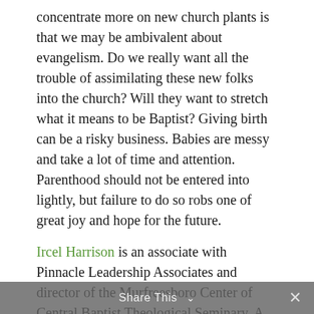concentrate more on new church plants is that we may be ambivalent about evangelism. Do we really want all the trouble of assimilating these new folks into the church? Will they want to stretch what it means to be Baptist? Giving birth can be a risky business. Babies are messy and take a lot of time and attention. Parenthood should not be entered into lightly, but failure to do so robs one of great joy and hope for the future.
Ircel Harrison is an associate with Pinnacle Leadership Associates and director of the Murfreesboro Center of Central Baptist Theological Seminary. A version of this column appeared previously on his blog
Share This ∨  ×